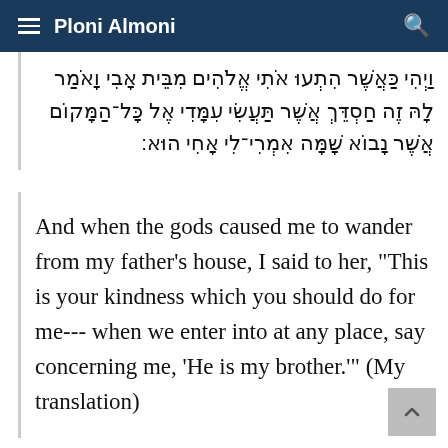≡ Ploni Almoni
וַיְהִי כַּאֲשֶׁר הִתְעוּ אֹתִי אֱלֹהִים מִבֵּית אָבִי וָאֹמַר לָהּ זֶה חַסְדֵּךְ אֲשֶׁר תַּעֲשִׂי עִמָּדִי אֶל כָּל־הַמָּקוֹם אֲשֶׁר נָבוֹא שָׁמָּה אִמְרִי־לִי אָחִי הוּא׃
And when the gods caused me to wander from my father's house, I said to her, "This is your kindness which you should do for me--- when we enter into at any place, say concerning me, 'He is my brother.'" (My translation)